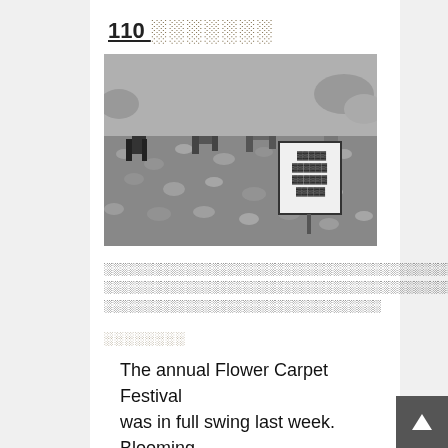110 ░░░░░░░░
[Figure (photo): Black and white photo of people walking through a flower field with a Chinese-language sign visible in the right portion of the image]
░░░░░░░░░░░░░░░░░░░░░░░░░░░░░░░░░░░░░░░░░░░░░░░░░░░░░░░░░░░░░░░░░░░░░░░░░░░░░░░░░░░░░░░░░░░░░░░░░░░░░░░░░░░░░░░░░░░░░░░░░░░░░░░░░░░░░░░░░░░░░░░░░
░░░░░░░░
The annual Flower Carpet Festival was in full swing last week. Blooming flowers turned this remote town into a